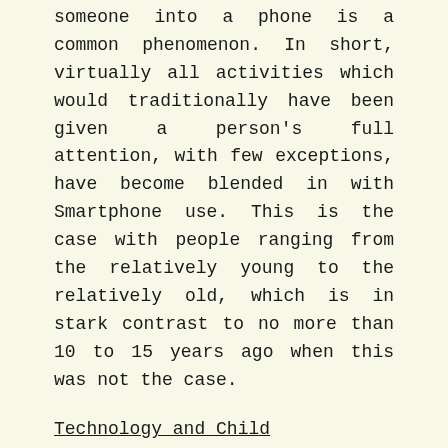someone into a phone is a common phenomenon. In short, virtually all activities which would traditionally have been given a person's full attention, with few exceptions, have become blended in with Smartphone use. This is the case with people ranging from the relatively young to the relatively old, which is in stark contrast to no more than 10 to 15 years ago when this was not the case.
Technology and Child Development
Lots of parents seem to be making digital devices available to children in their pre-teens, and it is not always clear whether any restrictions are being placed on using them. How parents manage their children is rightfully a parental and private matter, but it can be assumed that many parents are not always completely aware of what their children are doing online, or exactly how much time they spend there. Some adults with